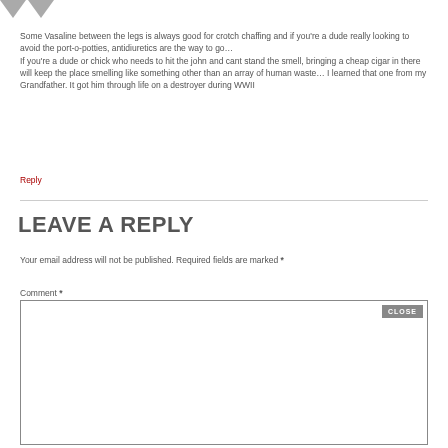[Figure (other): Two downward-pointing arrow/play icons in gray, representing avatar or vote buttons]
Some Vasaline between the legs is always good for crotch chaffing and if you're a dude really looking to avoid the port-o-potties, antidiuretics are the way to go…
If you're a dude or chick who needs to hit the john and cant stand the smell, bringing a cheap cigar in there will keep the place smelling like something other than an array of human waste… I learned that one from my Grandfather. It got him through life on a destroyer during WWII
Reply
LEAVE A REPLY
Your email address will not be published. Required fields are marked *
Comment *